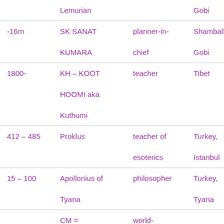|  | Lemurian |  | Gobi |
| -16m | SK SANAT KUMARA | planner-in-chief | Shamballa, Gobi |
| 1800- | KH – KOOT HOOMI aka Kuthumi | teacher | Tibet |
| 412 – 485 | Proklus | teacher of esoterics | Turkey, Istanbul |
| 15 – 100 | Apollonius of Tyana | philosopher | Turkey, Tyana |
|  | CM = CHRISTOS- | world-teacher |  |